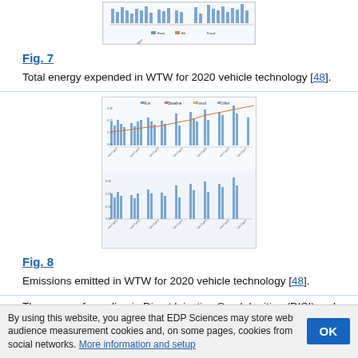[Figure (other): Bar chart image showing total energy expended in WTW for 2020 vehicle technology (top portion, partially visible)]
Fig. 7
Total energy expended in WTW for 2020 vehicle technology [48].
[Figure (other): Two bar charts showing emissions emitted in WTW for 2020 vehicle technology]
Fig. 8
Emissions emitted in WTW for 2020 vehicle technology [48].
The usage of gasoline in Direct Injection Spark Ignition (DISI) and the usage of diesel fuels in Direct Injection Compression Ignition (DICI) engines are less energy consuming than usage of most of the alternative
By using this website, you agree that EDP Sciences may store web audience measurement cookies and, on some pages, cookies from social networks. More information and setup